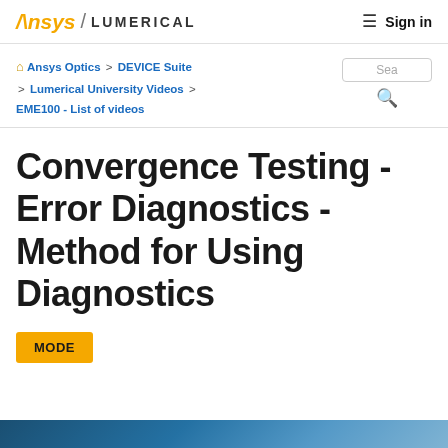Ansys / LUMERICAL   ≡  Sign in
🏠 Ansys Optics > DEVICE Suite > Lumerical University Videos > EME100 - List of videos
Convergence Testing - Error Diagnostics - Method for Using Diagnostics
MODE
[Figure (photo): Blue tinted image strip at the bottom of the page]